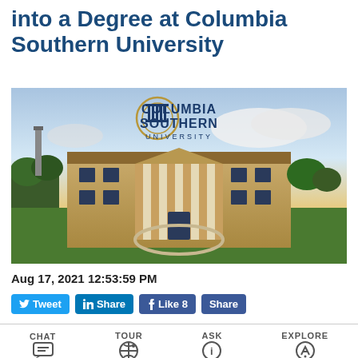into a Degree at Columbia Southern University
[Figure (photo): Aerial/drone photo of Columbia Southern University main building with the university logo overlay showing a columned building facade. Sky with clouds in background.]
Aug 17, 2021 12:53:59 PM
Tweet  Share  Like 8  Share
CHAT   TOUR   ASK   EXPLORE